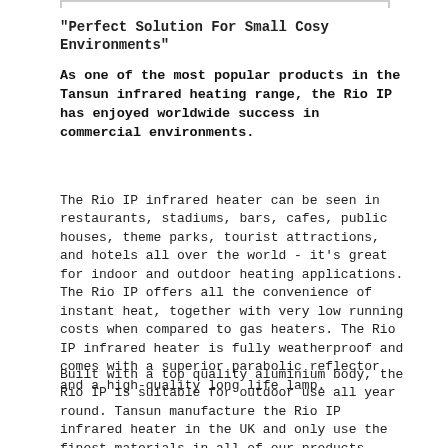"Perfect Solution For Small Cosy Environments"
As one of the most popular products in the Tansun infrared heating range, the Rio IP has enjoyed worldwide success in commercial environments.
The Rio IP infrared heater can be seen in restaurants, stadiums, bars, cafes, public houses, theme parks, tourist attractions, and hotels all over the world - it’s great for indoor and outdoor heating applications. The Rio IP offers all the convenience of instant heat, together with very low running costs when compared to gas heaters. The Rio IP infrared heater is fully weatherproof and comes with a superior parabolic reflector and a high-quality long life lamp.
Built with a top quality aluminium body, the Rio IP is suitable for outdoor use all year round. Tansun manufacture the Rio IP infrared heater in the UK and only use the finest materials in all of our products.